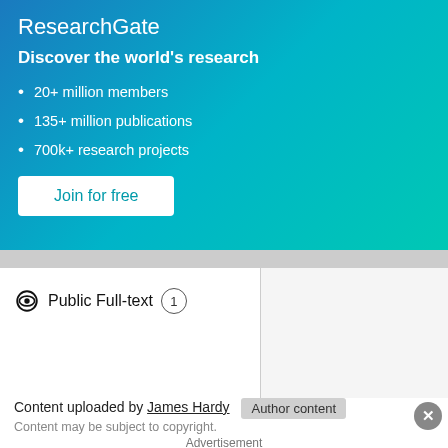ResearchGate
Discover the world's research
20+ million members
135+ million publications
700k+ research projects
Join for free
Public Full-text 1
Content uploaded by James Hardy  Author content
Content may be subject to copyright.
Advertisement
[Figure (screenshot): Sigma-Aldrich ad banner: Regenerating spinal tissue to cure paralysis? Unleash the Impossible. MilliporeSigma branding with tree illustration.]